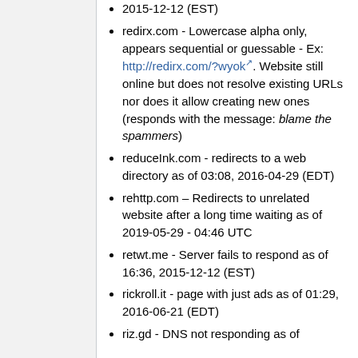redirx.com - Lowercase alpha only, appears sequential or guessable - Ex: http://redirx.com/?wyok. Website still online but does not resolve existing URLs nor does it allow creating new ones (responds with the message: blame the spammers)
reduceInk.com - redirects to a web directory as of 03:08, 2016-04-29 (EDT)
rehttp.com – Redirects to unrelated website after a long time waiting as of 2019-05-29 - 04:46 UTC
retwt.me - Server fails to respond as of 16:36, 2015-12-12 (EST)
rickroll.it - page with just ads as of 01:29, 2016-06-21 (EDT)
riz.gd - DNS not responding as of